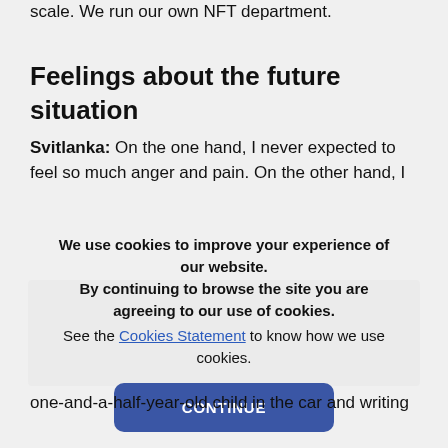scale. We run our own NFT department.
Feelings about the future situation
Svitlanka: On the one hand, I never expected to feel so much anger and pain. On the other hand, I didn't expect to be so motivated and do my best to help the country save the business. It seems this war has turned us into iron superman. And I would never have thought how
We use cookies to improve your experience of our website.
By continuing to browse the site you are agreeing to our use of cookies.
See the Cookies Statement to know how we use cookies.
one-and-a-half-year-old child in the car and writing